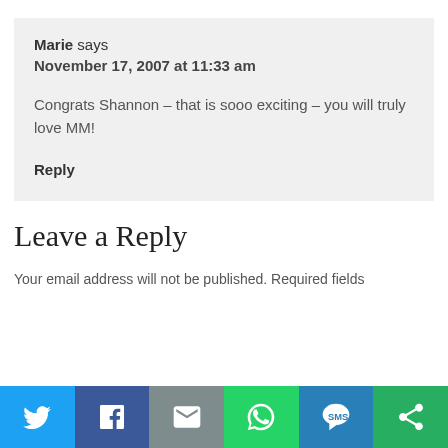Marie says
November 17, 2007 at 11:33 am
Congrats Shannon – that is sooo exciting – you will truly love MM!
Reply
Leave a Reply
Your email address will not be published. Required fields
[Figure (infographic): Social share bar with icons: Twitter (blue), Facebook (dark blue), Email (gray), WhatsApp (green), SMS (blue), More (green)]